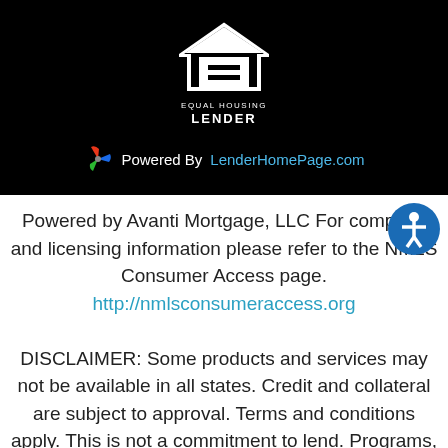[Figure (logo): Equal Housing Lender logo — white house outline with equal sign, text EQUAL HOUSING LENDER below]
Powered By LenderHomePage.com
Powered by Avanti Mortgage, LLC For company and licensing information please refer to the NMLS Consumer Access page. http://nmlsconsumeraccess.org DISCLAIMER: Some products and services may not be available in all states. Credit and collateral are subject to approval. Terms and conditions apply. This is not a commitment to lend. Programs, rates, terms, and conditions are subject to change without notice.